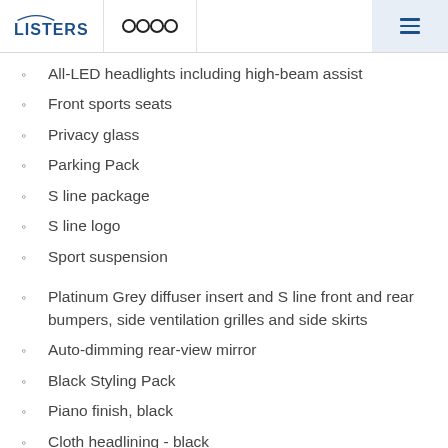Listers Audi
All-LED headlights including high-beam assist
Front sports seats
Privacy glass
Parking Pack
S line package
S line logo
Sport suspension
Platinum Grey diffuser insert and S line front and rear bumpers, side ventilation grilles and side skirts
Auto-dimming rear-view mirror
Black Styling Pack
Piano finish, black
Cloth headlining - black
Exterior mirrors
Electric lumbar support